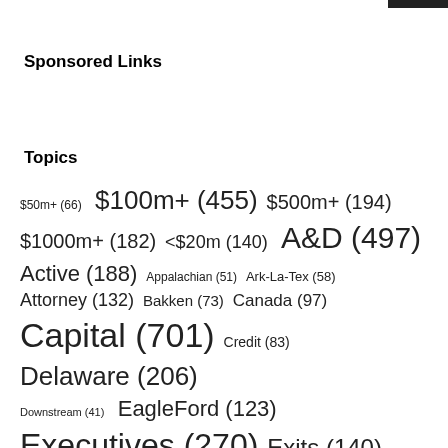Sponsored Links
Topics
$50m+ (66) $100m+ (455) $500m+ (194) $1000m+ (182) <$20m (140) A&D (497) Active (188) Appalachian (51) Ark-La-Tex (58) Attorney (132) Bakken (73) Canada (97) Capital (701) Credit (83) Delaware (206) Downstream (41) EagleFord (123) Executives (270) Exits (140) GulfCoast (69) Gulf of Mexico (58) Haynesville (61) I-Bank (179)